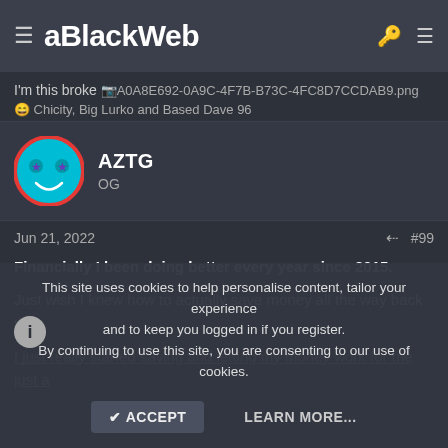aBlackWeb
I'm this broke [image: A0A8E692-0A9C-4F7B-B73C-4FC8D7CCDAB9.png]
😄 Chicity, Big Lurko and Based Dave 96
AZTG
OG
Jun 21, 2022  #99
Financially I been doing better every year since 2015.

Just wish I knew how to actually save money all the way back then.

I just really started saving and letting my money work for me just a
This site uses cookies to help personalise content, tailor your experience and to keep you logged in if you register.
By continuing to use this site, you are consenting to our use of cookies.

ACCEPT   LEARN MORE...